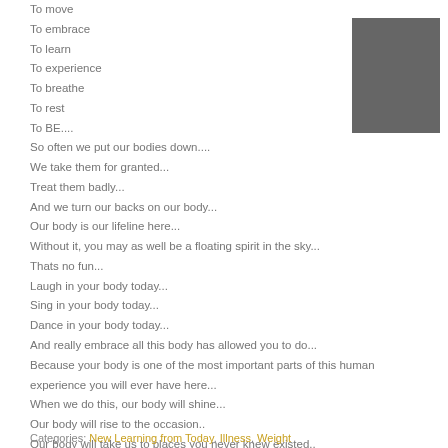To move
To embrace
To learn
To experience
To breathe
To rest
To BE....
So often we put our bodies down....
We take them for granted...
Treat them badly...
And we turn our backs on our body...
Our body is our lifeline here...
Without it, you may as well be a floating spirit in the sky...
Thats no fun...
Laugh in your body today...
Sing in your body today...
Dance in your body today...
And really embrace all this body has allowed you to do...
Because your body is one of the most important parts of this human experience you will ever have here...
When we do this, our body will shine...
Our body will rise to the occasion..
Our body will take us to places you never knew existed..
And will allow you to do whatever you wanted to do...
Honouring the body today....and always....
KEJ xo
[Figure (other): Gray rectangle image placeholder in upper right corner]
Categories: New Learning from Today, Illness, Weight